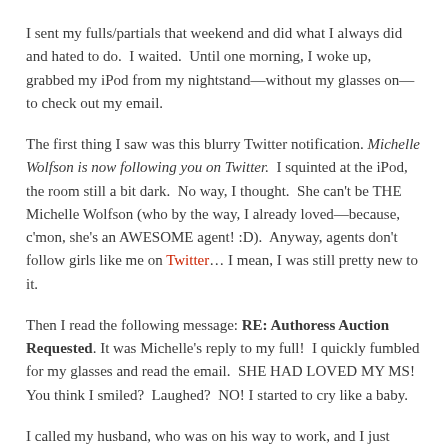I sent my fulls/partials that weekend and did what I always did and hated to do.  I waited.  Until one morning, I woke up, grabbed my iPod from my nightstand—without my glasses on—to check out my email.
The first thing I saw was this blurry Twitter notification. Michelle Wolfson is now following you on Twitter.  I squinted at the iPod, the room still a bit dark.  No way, I thought.  She can't be THE Michelle Wolfson (who by the way, I already loved—because, c'mon, she's an AWESOME agent! :D).  Anyway, agents don't follow girls like me on Twitter… I mean, I was still pretty new to it.
Then I read the following message: RE: Authoress Auction Requested. It was Michelle's reply to my full!  I quickly fumbled for my glasses and read the email.  SHE HAD LOVED MY MS!  You think I smiled?  Laughed?  NO! I started to cry like a baby.
I called my husband, who was on his way to work, and I just couldn't speak because I was still crying so hard.  He heard